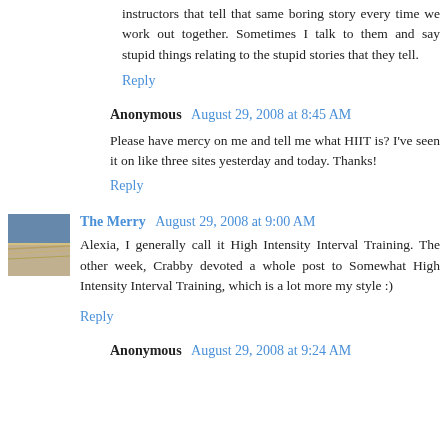instructors that tell that same boring story every time we work out together. Sometimes I talk to them and say stupid things relating to the stupid stories that they tell.
Reply
Anonymous August 29, 2008 at 8:45 AM
Please have mercy on me and tell me what HIIT is? I've seen it on like three sites yesterday and today. Thanks!
Reply
The Merry August 29, 2008 at 9:00 AM
Alexia, I generally call it High Intensity Interval Training. The other week, Crabby devoted a whole post to Somewhat High Intensity Interval Training, which is a lot more my style :)
Reply
Anonymous August 29, 2008 at 9:24 AM